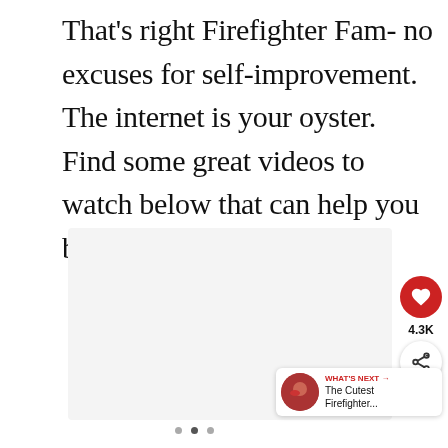That's right Firefighter Fam- no excuses for self-improvement. The internet is your oyster. Find some great videos to watch below that can help you be your best self.
[Figure (other): Embedded video player area (light gray rectangle) with social interaction buttons: heart/like button (red circle, 4.3K count), share button (white circle with share icon), a 'WHAT'S NEXT' panel showing a thumbnail and title 'The Cutest Firefighter...' and navigation dots at the bottom.]